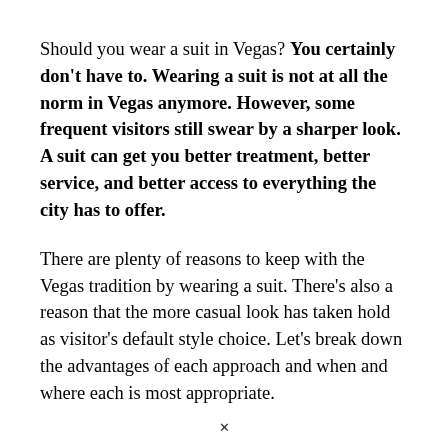Should you wear a suit in Vegas? You certainly don't have to. Wearing a suit is not at all the norm in Vegas anymore. However, some frequent visitors still swear by a sharper look. A suit can get you better treatment, better service, and better access to everything the city has to offer.
There are plenty of reasons to keep with the Vegas tradition by wearing a suit. There's also a reason that the more casual look has taken hold as visitor's default style choice. Let's break down the advantages of each approach and when and where each is most appropriate.